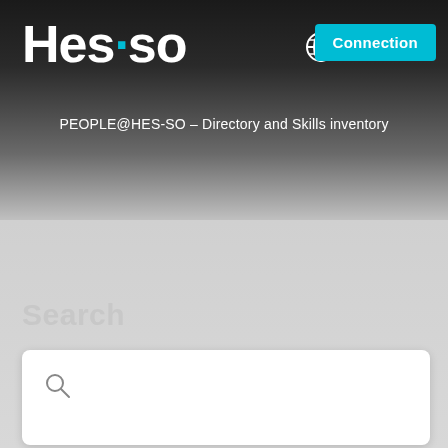Hes·so
Connection
PEOPLE@HES-SO – Directory and Skills inventory
Search
[Figure (other): Search input box with magnifying glass icon]